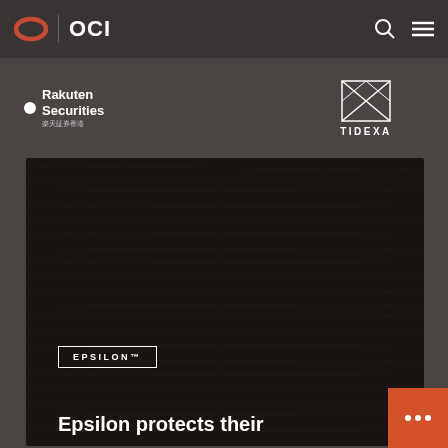OCI
[Figure (logo): Rakuten Securities logo with Japanese text, white dot and text on dark background]
[Figure (logo): TIDEXA logo with geometric diamond/triangle graphic on dark background]
[Figure (photo): Dark textured background image for Epsilon case study card]
EPSILON™
Epsilon protects their